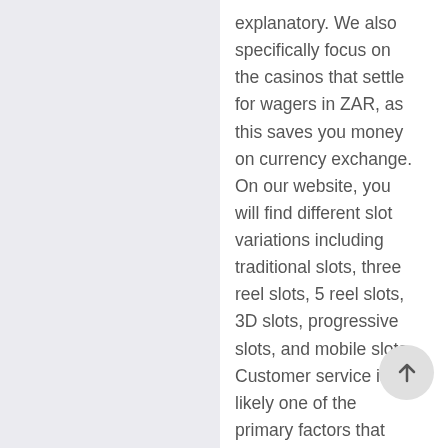explanatory. We also specifically focus on the casinos that settle for wagers in ZAR, as this saves you money on currency exchange. On our website, you will find different slot variations including traditional slots, three reel slots, 5 reel slots, 3D slots, progressive slots, and mobile slots. Customer service is likely one of the primary factors that determined the reliability of an internet on line casino. Having entry to the help staff at any time offers you peace of thoughts since you're guaranteed to have a serving to help at each step of your playing experience. We